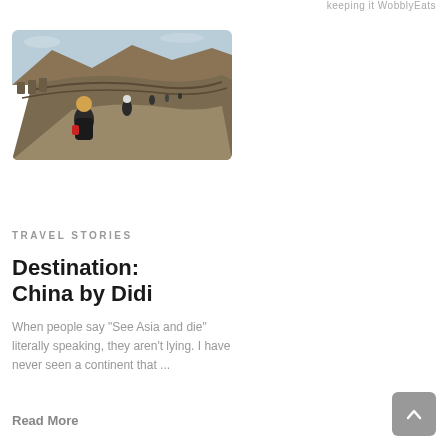keeping it WobblyEats
[Figure (photo): Woman walking on the Great Wall of China, winter scene with brown hills in background, other visitors visible on the wall path]
TRAVEL STORIES
Destination: China by Didi
When people say “See Asia and die” literally speaking, they aren’t lying. I have never seen a continent that ...
Read More